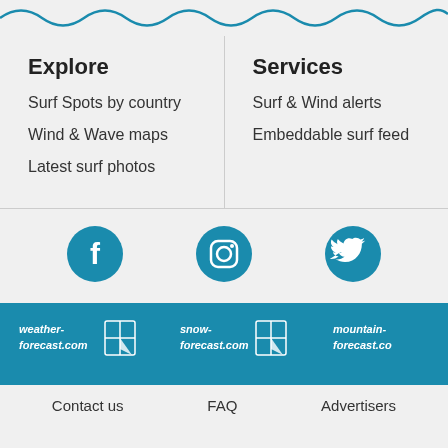[Figure (illustration): Teal wavy line divider at top of footer]
Explore
Surf Spots by country
Wind & Wave maps
Latest surf photos
Services
Surf & Wind alerts
Embeddable surf feed
[Figure (logo): Facebook circle icon in teal]
[Figure (logo): Instagram circle icon in teal]
[Figure (logo): Twitter circle icon in teal]
[Figure (logo): weather-forecast.com logo in white on teal bar]
[Figure (logo): snow-forecast.com logo in white on teal bar]
[Figure (logo): mountain-forecast.com logo in white on teal bar]
Contact us
FAQ
Advertisers